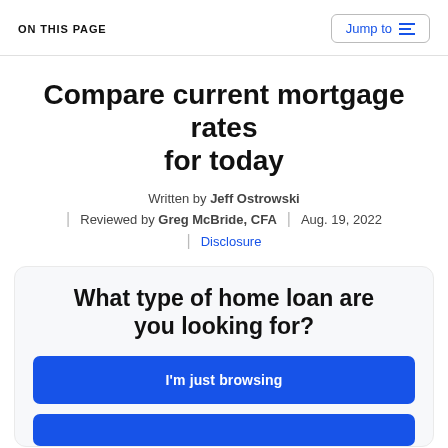ON THIS PAGE | Jump to
Compare current mortgage rates for today
Written by Jeff Ostrowski
Reviewed by Greg McBride, CFA | Aug. 19, 2022
Disclosure
What type of home loan are you looking for?
I'm just browsing